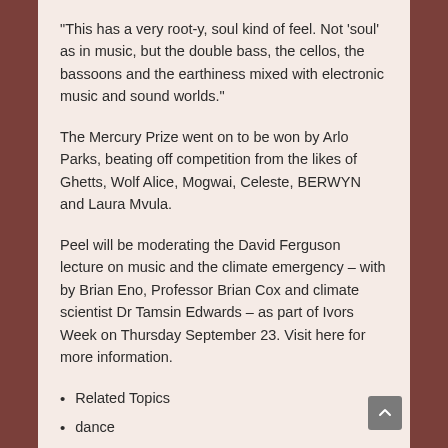“This has a very root-y, soul kind of feel. Not ‘soul’ as in music, but the double bass, the cellos, the bassoons and the earthiness mixed with electronic music and sound worlds.”
The Mercury Prize went on to be won by Arlo Parks, beating off competition from the likes of Ghetts, Wolf Alice, Mogwai, Celeste, BERWYN and Laura Mvula.
Peel will be moderating the David Ferguson lecture on music and the climate emergency – with by Brian Eno, Professor Brian Cox and climate scientist Dr Tamsin Edwards – as part of Ivors Week on Thursday September 23. Visit here for more information.
Related Topics
dance
Hannah Peel